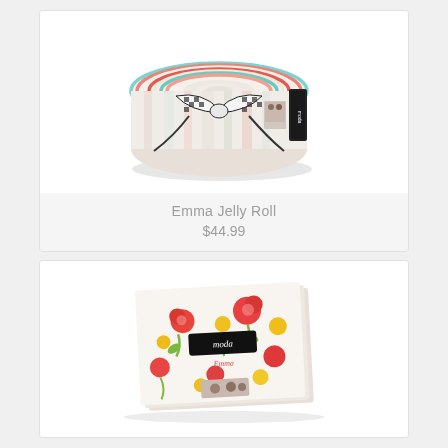[Figure (photo): Emma Jelly Roll product photo - a cylindrical roll of fabric strips with a black and white checkered ribbon bow, showing colorful fabric patterns including floral and geometric designs]
Emma Jelly Roll
$44.99
[Figure (photo): Emma fabric product photo - a flat lay of cream/white fabric with red, yellow and green floral print pattern, showing the Moda brand label and Emma collection branding]